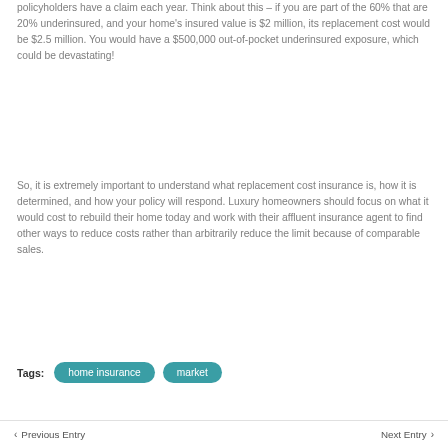policyholders have a claim each year. Think about this – if you are part of the 60% that are 20% underinsured, and your home's insured value is $2 million, its replacement cost would be $2.5 million. You would have a $500,000 out-of-pocket underinsured exposure, which could be devastating!
So, it is extremely important to understand what replacement cost insurance is, how it is determined, and how your policy will respond. Luxury homeowners should focus on what it would cost to rebuild their home today and work with their affluent insurance agent to find other ways to reduce costs rather than arbitrarily reduce the limit because of comparable sales.
Tags: home insurance  market
< Previous Entry    Next Entry >